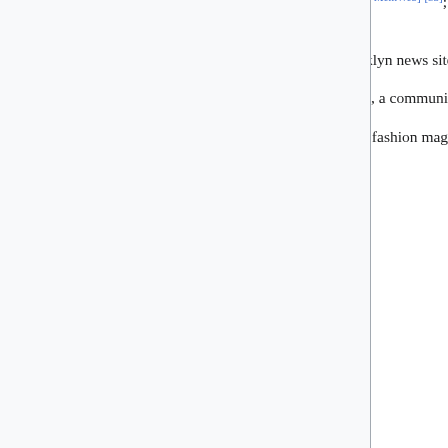remove their MCAT preparation material[IA·Wcite·.today·MemWeb][53]; Khan Academy has posted a banner there saying they're working on a partnership to continue maintaining the course.
September 10: Bklyner[IA·Wcite·.today·MemWeb], a Brooklyn news site, ceases publication.[54]
August 24 August 10: Spectrum[IA·Wcite·.today·MemWeb], a community platform, has been purchased by Microsoft and will be made read-only.[55]
August 2: V!VA[IA·Wcite·.today·MemWeb]/VIVA, a Dutch fashion magazine, along with its forums[IA·Wcite·.today·MemWeb][56]
"mid 2021": Docker Hub will start